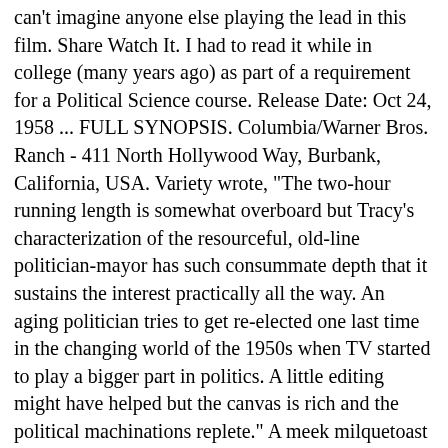can't imagine anyone else playing the lead in this film. Share Watch It. I had to read it while in college (many years ago) as part of a requirement for a Political Science course. Release Date: Oct 24, 1958 ... FULL SYNOPSIS. Columbia/Warner Bros. Ranch - 411 North Hollywood Way, Burbank, California, USA. Variety wrote, "The two-hour running length is somewhat overboard but Tracy's characterization of the resourceful, old-line politician-mayor has such consummate depth that it sustains the interest practically all the way. An aging politician tries to get re-elected one last time in the changing world of the 1950s when TV started to play a bigger part in politics. A little editing might have helped but the canvas is rich and the political machinations replete." A meek milquetoast of a clerk's mistaken for public enemy NÂ° 1, and the notorious killer takes advantage of the situation. Two young drifters guide a Mormon wagon train to the San Juan Valley and encounter cutthroats, Indians, geography, and moral challenges on the journey. The Last Hurrah Details. The Last Hurrah is divided into four parts and fourteen chapters. Get Rediff News in your Inbox: email. Watch movie Last Hurrah for Chivalry full online free » Best site to watch Movies free and TV series online is CipFlix » 123Movies. View production, box office, & company info. Reviewed in the United States on November 18, 2013. As the year comes to a close, we present the top TV shows of 2020, including "Money Heist" and "The Mandalorian. A typical day for Scotland Yard Chief Inspector George Gideon consists of working